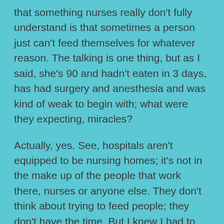that something nurses really don't fully understand is that sometimes a person just can't feed themselves for whatever reason. The talking is one thing, but as I said, she's 90 and hadn't eaten in 3 days, has had surgery and anesthesia and was kind of weak to begin with; what were they expecting, miracles?
Actually, yes. See, hospitals aren't equipped to be nursing homes; it's not in the make up of the people that work there, nurses or anyone else. They don't think about trying to feed people; they don't have the time. But I knew I had to give that a shot because it would tell me whether she was alert or whether she had decided it was her time. She consumed the entire cup of lemon ice; I had my answer.
So here we are at the dilemma stage, although it's kind of a foregone conclusion. She has to be moved to either a